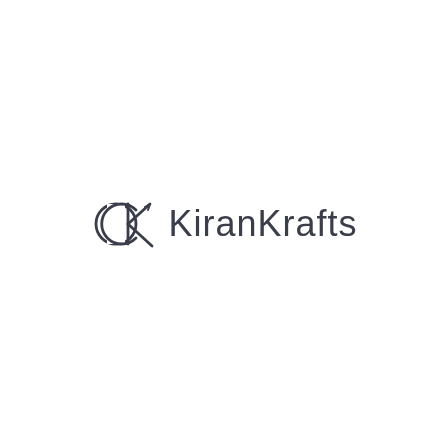[Figure (logo): KiranKrafts logo consisting of a stylized CK monogram symbol followed by the text 'KiranKrafts' in dark gray thin sans-serif font]